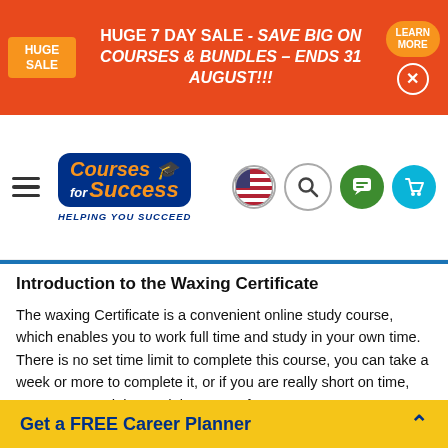[Figure (screenshot): Orange sale banner: HUGE SALE tag on left, text 'HUGE 7 DAY SALE - SAVE BIG ON COURSES & BUNDLES – ENDS 31 AUGUST!!!', Learn More button and X close button on right]
[Figure (logo): Courses for Success logo with tagline 'HELPING YOU SUCCEED', hamburger menu icon on left, navigation icons (US flag, search, chat, cart) on right]
Introduction to the Waxing Certificate
The waxing Certificate is a convenient online study course, which enables you to work full time and study in your own time. There is no set time limit to complete this course, you can take a week or more to complete it, or if you are really short on time, you can spread the modules over a few years.
The course is broken into easy to manage modules which are overflowing with useful information. Each module teaches you new skills, knowledge and information on waxing, helping you identify what you need to know and what product you need. You will learn techniques, styles and what waxes to use to
Get a FREE Career Planner